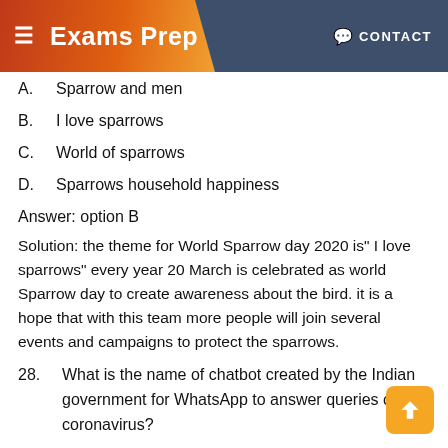Exams Prep  CONTACT
A.    Sparrow and men
B.    I love sparrows
C.    World of sparrows
D.    Sparrows household happiness
Answer: option B
Solution: the theme for World Sparrow day 2020 is" I love sparrows" every year 20 March is celebrated as world Sparrow day to create awareness about the bird. it is a hope that with this team more people will join several events and campaigns to protect the sparrows.
28.    What is the name of chatbot created by the Indian government for WhatsApp to answer queries on coronavirus?
A.    MyGov Corona helpdesk
B.    Corona info
C.    Chatbot-19
D.    Corona helpdesk